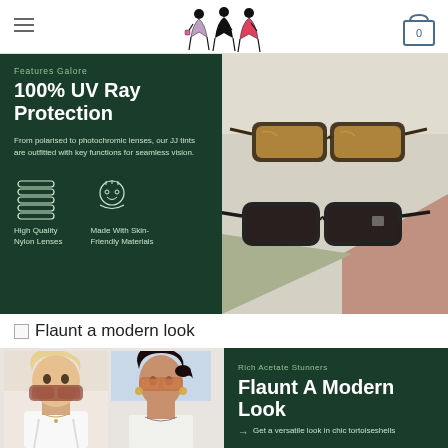Features Galore | 100% UV Ray Protection
[Figure (logo): Three fashion silhouette figures logo]
[Figure (other): Shopping cart icon with 0]
[Figure (photo): Dark green panel with text: Features Galore, 100% UV Ray Protection, description about polarised to photochromic lenses, icons for High Quality Nylon Lenses and Made With Skin-Friendly Materials]
[Figure (photo): Product photo of sunglasses - two pairs of sunglasses on muted background]
Flaunt a modern look
[Figure (photo): Two women models wearing sunglasses]
[Figure (photo): Dark green panel with Rich Acetate Stunners, Flaunt A Modern Look, Get a versatile look in chic tortoiseshells]